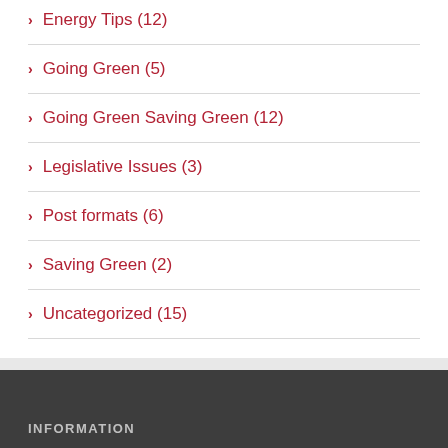Energy Tips (12)
Going Green (5)
Going Green Saving Green (12)
Legislative Issues (3)
Post formats (6)
Saving Green (2)
Uncategorized (15)
INFORMATION